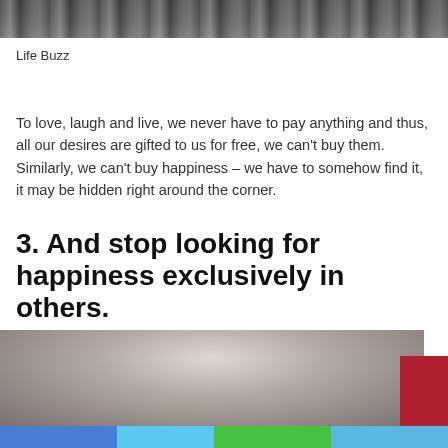[Figure (photo): Top portion of a black and white photo showing part of a person]
Life Buzz
To love, laugh and live, we never have to pay anything and thus, all our desires are gifted to us for free, we can't buy them. Similarly, we can't buy happiness – we have to somehow find it, it may be hidden right around the corner.
3. And stop looking for happiness exclusively in others.
[Figure (photo): Black and white photo of a person with hair falling over their face, looking downward]
[Figure (other): Bottom social sharing bar with Facebook, Twitter, WhatsApp, and LinkedIn color blocks]